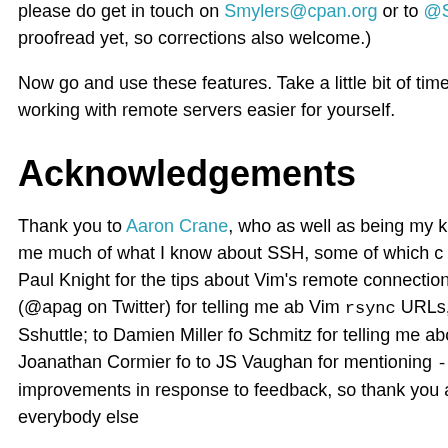please do get in touch on Smylers@cpan.org or to @Smylers been proofread yet, so corrections also welcome.)
Now go and use these features. Take a little bit of time now to make working with remote servers easier for yourself.
Acknowledgements
Thank you to Aaron Crane, who as well as being my keyboard taught me much of what I know about SSH, some of which ca Logins article; to Paul Knight for the tips about Vim's remote connections; to Aristotle (@apag on Twitter) for telling me ab Vim rsync URLs, Tramp, and Sshuttle; to Damien Miller fo Schmitz for telling me about sslh; to Joanathan Cormier fo to JS Vaughan for mentioning -C. Many small improvements in response to feedback, so thank you also to everybody else
Thank you to Webfusion, my employer, for support in attendi me practice this talk on colleagues).
And thank you to search engine DuckDuckGo for the T-shirt